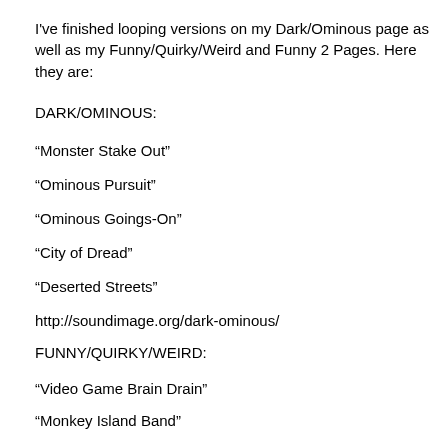I've finished looping versions on my Dark/Ominous page as well as my Funny/Quirky/Weird and Funny 2 Pages. Here they are:
DARK/OMINOUS:
“Monster Stake Out”
“Ominous Pursuit”
“Ominous Goings-On”
“City of Dread”
“Deserted Streets”
http://soundimage.org/dark-ominous/
FUNNY/QUIRKY/WEIRD:
“Video Game Brain Drain”
“Monkey Island Band”
“Mister Sneakypants”
“Farty Crooks”
“Blob Monsters Return”